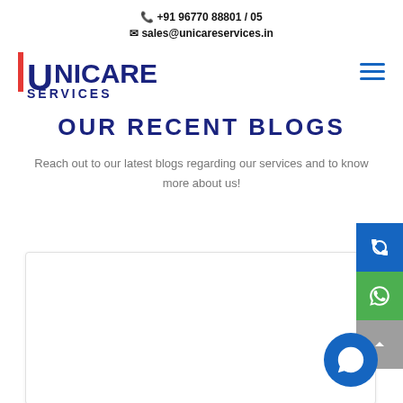📞 +91 96770 88801 / 05
✉ sales@unicareservices.in
[Figure (logo): Unicare Services logo with red bar, navy U, UNICARE SERVICES text, and 'feel it...' tagline]
OUR RECENT BLOGS
Reach out to our latest blogs regarding our services and to know more about us!